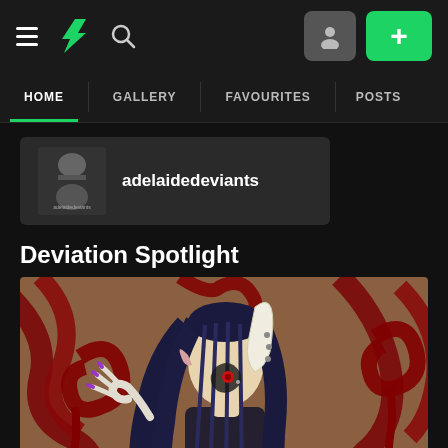DeviantArt navigation bar with hamburger menu, DA logo, search icon, user icon, and + button
HOME | GALLERY | FAVOURITES | POSTS
[Figure (screenshot): User profile card with avatar thumbnail and username 'adelaidedeviants' on dark background]
Deviation Spotlight
[Figure (illustration): Digital illustration of a fantasy/anime character with dark blue hair, a large white horn, tattoo markings on face, with dark clothing, against a brown background with dark red swirling tentacle/vine patterns dripping downward]